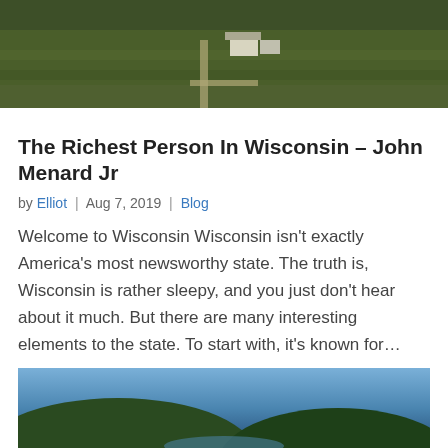[Figure (photo): Aerial view of a farm with green fields and farm buildings, seen from above]
The Richest Person In Wisconsin – John Menard Jr
by Elliot | Aug 7, 2019 | Blog
Welcome to Wisconsin Wisconsin isn't exactly America's most newsworthy state. The truth is, Wisconsin is rather sleepy, and you just don't hear about it much. But there are many interesting elements to the state. To start with, it's known for…
[Figure (photo): Aerial landscape photo with text overlay reading RICHEST PERSON IN WEST VIRGINIA in white and yellow bold text]